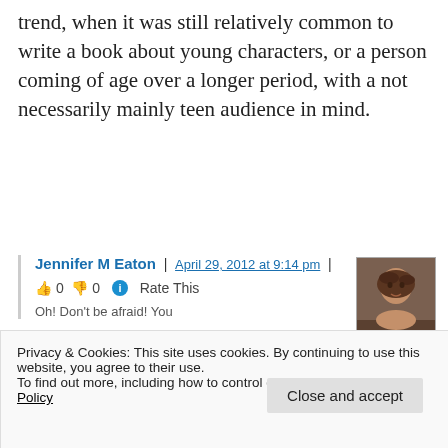trend, when it was still relatively common to write a book about young characters, or a person coming of age over a longer period, with a not necessarily mainly teen audience in mind.
Jennifer M Eaton | April 29, 2012 at 9:14 pm | 👍 0 👎 0 ℹ Rate This
[Figure (photo): Author profile photo of Jennifer M Eaton - a woman with dark hair]
Oh! Don't be afraid! You
Privacy & Cookies: This site uses cookies. By continuing to use this website, you agree to their use.
To find out more, including how to control cookies, see here: Cookie Policy
Close and accept